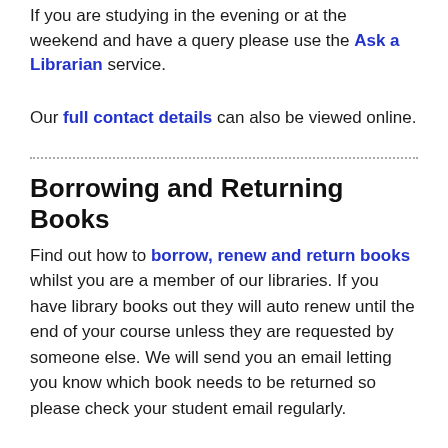If you are studying in the evening or at the weekend and have a query please use the Ask a Librarian service.
Our full contact details can also be viewed online.
Borrowing and Returning Books
Find out how to borrow, renew and return books whilst you are a member of our libraries. If you have library books out they will auto renew until the end of your course unless they are requested by someone else. We will send you an email letting you know which book needs to be returned so please check your student email regularly.